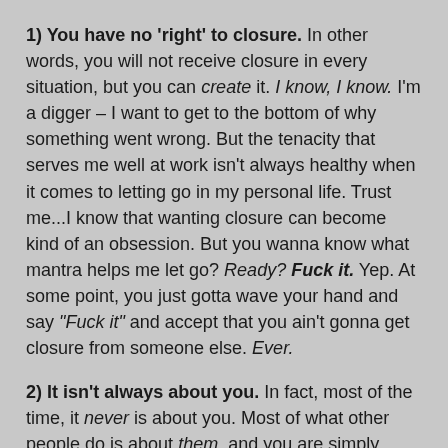1) You have no 'right' to closure. In other words, you will not receive closure in every situation, but you can create it. I know, I know. I'm a digger – I want to get to the bottom of why something went wrong. But the tenacity that serves me well at work isn't always healthy when it comes to letting go in my personal life. Trust me...I know that wanting closure can become kind of an obsession. But you wanna know what mantra helps me let go? Ready? Fuck it. Yep. At some point, you just gotta wave your hand and say "Fuck it" and accept that you ain't gonna get closure from someone else. Ever.
2) It isn't always about you. In fact, most of the time, it never is about you. Most of what other people do is about them, and you are simply collateral damage. The author of "The Four Agreements" puts it another way: